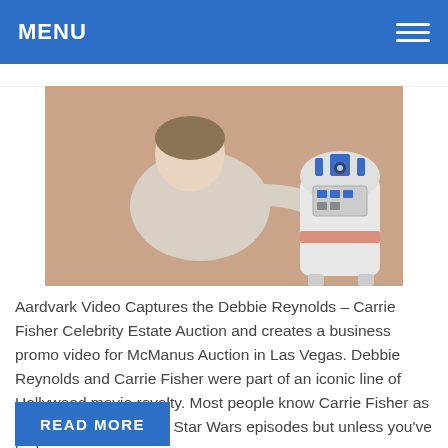MENU
[Figure (photo): A vintage photograph showing a person leaning toward an R2-D2 robot prop from Star Wars, with a warm pinkish-brown background.]
Aardvark Video Captures the Debbie Reynolds – Carrie Fisher Celebrity Estate Auction and creates a business promo video for McManus Auction in Las Vegas. Debbie Reynolds and Carrie Fisher were part of an iconic line of Hollywood movie royalty. Most people know Carrie Fisher as Princess Leia from the Star Wars episodes but unless you've […]
READ MORE